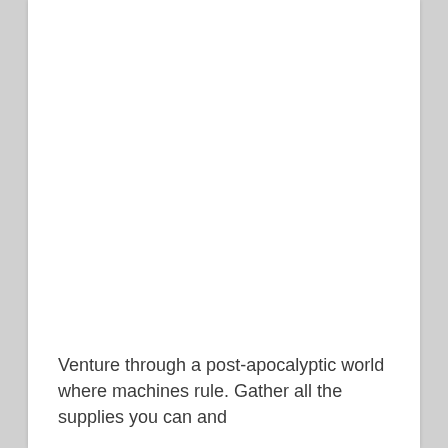Venture through a post-apocalyptic world where machines rule. Gather all the supplies you can and